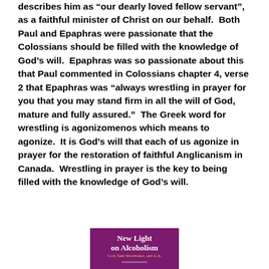describes him as “our dearly loved fellow servant”, as a faithful minister of Christ on our behalf. Both Paul and Epaphras were passionate that the Colossians should be filled with the knowledge of God’s will. Epaphras was so passionate about this that Paul commented in Colossians chapter 4, verse 2 that Epaphras was “always wrestling in prayer for you that you may stand firm in all the will of God, mature and fully assured.” The Greek word for wrestling is agonizomenos which means to agonize. It is God’s will that each of us agonize in prayer for the restoration of faithful Anglicanism in Canada. Wrestling in prayer is the key to being filled with the knowledge of God’s will.
[Figure (illustration): Book cover for 'New Light on Alcoholism: God, Sam Shoemaker, and A.A.' on a purple/magenta background with white and yellow text.]